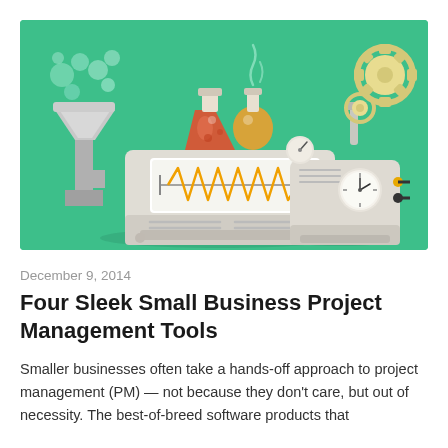[Figure (illustration): Flat design illustration of a machine/laboratory equipment on a teal/green background. Features a large gray machine with a waveform display screen showing orange zigzag lines, flanked by laboratory flasks (red and orange), a funnel with pipe on the left, a yellow tube connecting to a smaller gray machine on the right with a clock/gauge, gears, and a robotic arm. Smoke/steam bubbles rise from the top.]
December 9, 2014
Four Sleek Small Business Project Management Tools
Smaller businesses often take a hands-off approach to project management (PM) — not because they don't care, but out of necessity. The best-of-breed software products that